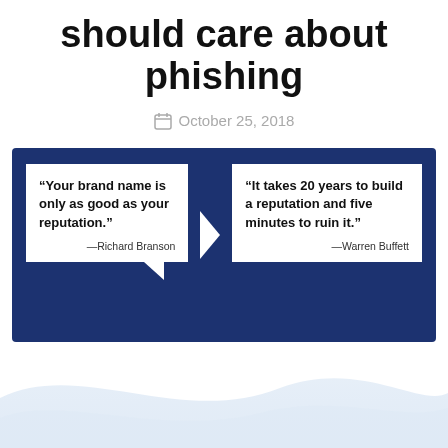should care about phishing
October 25, 2018
[Figure (infographic): Dark blue banner with two speech bubble quote boxes. Left box: “Your brand name is only as good as your reputation.” —Richard Branson. Right box: “It takes 20 years to build a reputation and five minutes to ruin it.” —Warren Buffett]